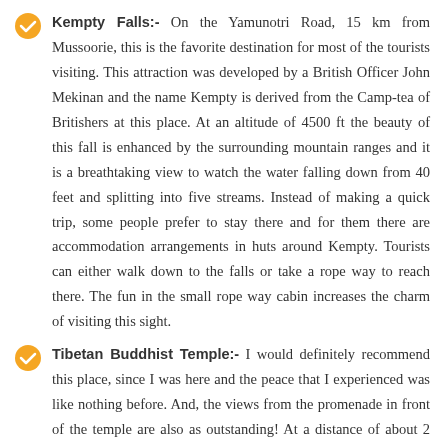Kempty Falls:- On the Yamunotri Road, 15 km from Mussoorie, this is the favorite destination for most of the tourists visiting. This attraction was developed by a British Officer John Mekinan and the name Kempty is derived from the Camp-tea of Britishers at this place. At an altitude of 4500 ft the beauty of this fall is enhanced by the surrounding mountain ranges and it is a breathtaking view to watch the water falling down from 40 feet and splitting into five streams. Instead of making a quick trip, some people prefer to stay there and for them there are accommodation arrangements in huts around Kempty. Tourists can either walk down to the falls or take a rope way to reach there. The fun in the small rope way cabin increases the charm of visiting this sight.
Tibetan Buddhist Temple:- I would definitely recommend this place, since I was here and the peace that I experienced was like nothing before. And, the views from the promenade in front of the temple are also as outstanding! At a distance of about 2 km from the Gandhi Chowk is the Happy Valley, also known as "mini Tibet." This place is home to about 5000 Tibetan Refugees and has the Tibetan Buddhist Temple, also known as the Shed up choepelling temple.